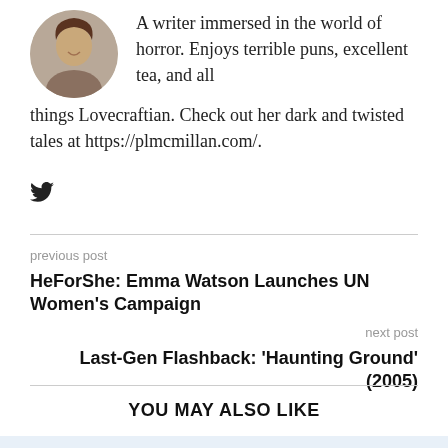[Figure (photo): Circular profile photo of a woman smiling]
A writer immersed in the world of horror. Enjoys terrible puns, excellent tea, and all things Lovecraftian. Check out her dark and twisted tales at https://plmcmillan.com/.
[Figure (logo): Twitter bird icon]
previous post
HeForShe: Emma Watson Launches UN Women's Campaign
next post
Last-Gen Flashback: 'Haunting Ground' (2005)
YOU MAY ALSO LIKE